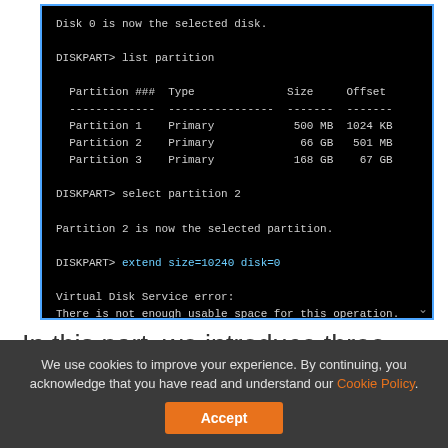[Figure (screenshot): Windows DISKPART terminal screenshot showing list partition output with Partition 1 (Primary, 500 MB, 1024 KB), Partition 2 (Primary, 66 GB, 501 MB), Partition 3 (Primary, 168 GB, 67 GB), then 'select partition 2', then 'extend size=10240 disk=0' command resulting in 'Virtual Disk Service error: There is not enough usable space for this operation.']
In this part, we introduce three partition managers to extend partition in Windows 10 without formatting. By using them, you will find MiniTool Partition Wizard can help to increase partition size well without any limitation and it can solve
We use cookies to improve your experience. By continuing, you acknowledge that you have read and understand our Cookie Policy.